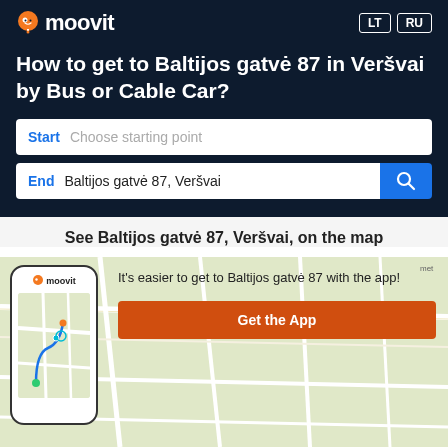[Figure (logo): Moovit logo with orange pin icon and white text on dark background]
How to get to Baltijos gatvė 87 in Veršvai by Bus or Cable Car?
Start  Choose starting point
End  Baltijos gatvė 87, Veršvai
See Baltijos gatvė 87, Veršvai, on the map
[Figure (screenshot): Phone mockup showing Moovit app with a map view and route, alongside text 'It's easier to get to Baltijos gatvė 87 with the app!' and an orange 'Get the App' button, overlaid on a map background]